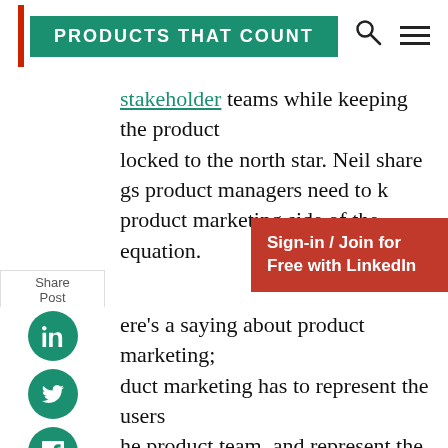PRODUCTS THAT COUNT
stakeholder teams while keeping the product locked to the north star. Neil shares things product managers need to know about product marketing side of the equation.
Sign-in / Join for Free with LinkedIn
here's a saying about product marketing; duct marketing has to represent the users he product team, and represent the duct to the users. We act as such an excellent conduit between the users and product. Sometimes there could be a